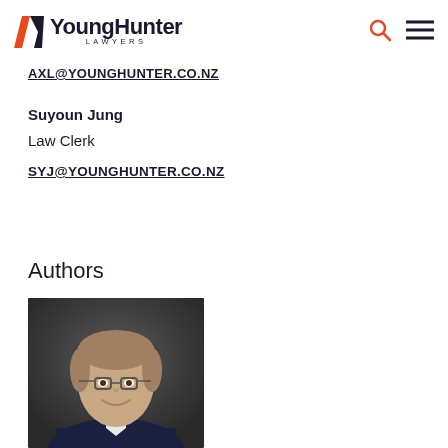YoungHunter LAWYERS
AXL@YOUNGHUNTER.CO.NZ
Suyoun Jung
Law Clerk
SYJ@YOUNGHUNTER.CO.NZ
Authors
[Figure (photo): Professional headshot of a man with glasses and dark blonde hair wearing a dark blazer, smiling, against a dark grey background]